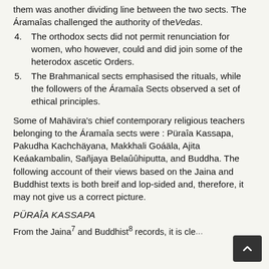them was another dividing line between the two sects. The Áramaîas challenged the authority of the Vedas.
4. The orthodox sects did not permit renunciation for women, who however, could and did join some of the heterodox ascetic Orders.
5. The Brahmanical sects emphasised the rituals, while the followers of the Áramaîa Sects observed a set of ethical principles.
Some of Mahävira's chief contemporary religious teachers belonging to the Áramaîa sects were : Püraîa Kassapa, Pakudha Kachchäyana, Makkhali Goáäla, Ajita Keáakambalin, Sañjaya Belaûûhiputta, and Buddha. The following account of their views based on the Jaina and Buddhist texts is both breif and lop-sided and, therefore, it may not give us a correct picture.
PÜRAÎA KASSAPA
From the Jaina7 and Buddhist8 records, it is cle... ürnâ